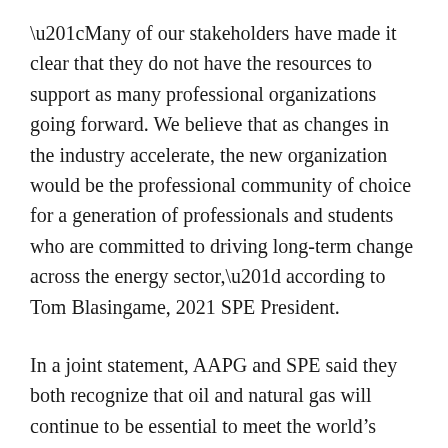“Many of our stakeholders have made it clear that they do not have the resources to support as many professional organizations going forward. We believe that as changes in the industry accelerate, the new organization would be the professional community of choice for a generation of professionals and students who are committed to driving long-term change across the energy sector,” according to Tom Blasingame, 2021 SPE President.
In a joint statement, AAPG and SPE said they both recognize that oil and natural gas will continue to be essential to meet the world’s energy needs, and the combined membership will contribute substantially to assuring reliable and affordable future energy supplies. Additionally, the knowledge, skills, and abilities of the new organization will enable its members to accelerate the uptake of new technologies such as digitalization and will